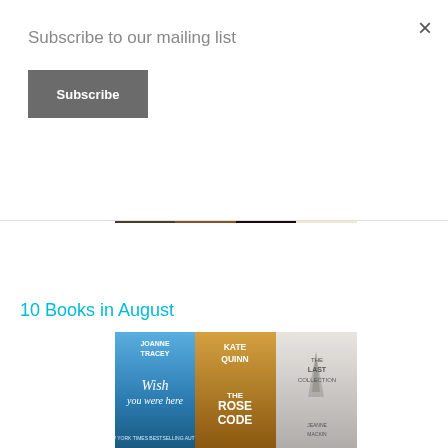Subscribe to our mailing list
Subscribe
[Figure (illustration): Four book covers in a horizontal row: Jenn McKinlay cupcake book (Denise), Elin Hilderbrand Golden Girl, J.D. Robb Faithless in Death, Jenn McKinlay cupcake book]
10 Books in August
[Figure (illustration): Book covers in a horizontal row: Joanne Tracey Wish You Were Here, Kate Quinn The Rose Code, The Last Collection by Jeanne Mackin, and partial covers below]